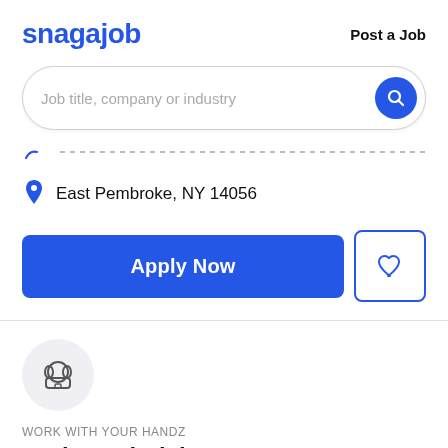snagajob  Post a Job
Job title, company or industry
East Pembroke, NY 14056
Apply Now
[Figure (logo): Headset/customer service icon in a light gray circle]
WORK WITH YOUR HANDZ
Drain Technician